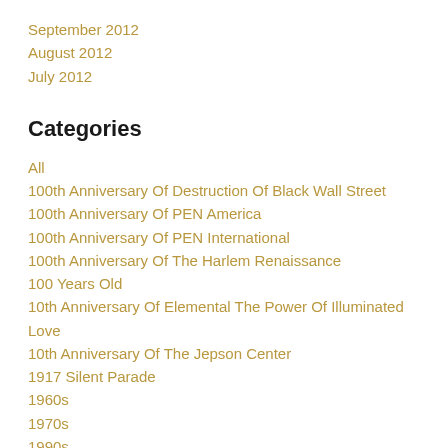September 2012
August 2012
July 2012
Categories
All
100th Anniversary Of Destruction Of Black Wall Street
100th Anniversary Of PEN America
100th Anniversary Of PEN International
100th Anniversary Of The Harlem Renaissance
100 Years Old
10th Anniversary Of Elemental The Power Of Illuminated Love
10th Anniversary Of The Jepson Center
1917 Silent Parade
1960s
1970s
1990s
1st Anniversary Of COVID-19 Announcements
2010s
2012